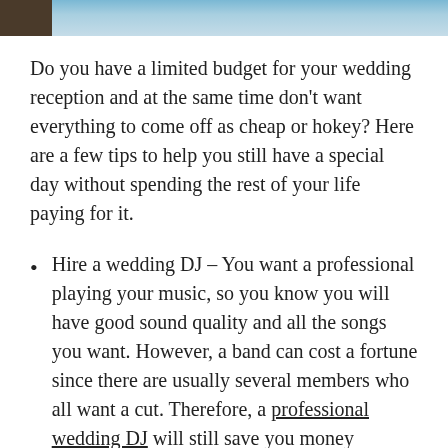[Figure (photo): Partial photo strip at top of page showing a blue sky background with a dark element on the left side.]
Do you have a limited budget for your wedding reception and at the same time don't want everything to come off as cheap or hokey? Here are a few tips to help you still have a special day without spending the rest of your life paying for it.
Hire a wedding DJ – You want a professional playing your music, so you know you will have good sound quality and all the songs you want. However, a band can cost a fortune since there are usually several members who all want a cut. Therefore, a professional wedding DJ will still save you money without giving you the cheap feel of a friend playing songs from an iPhone over a Bluetooth speaker.